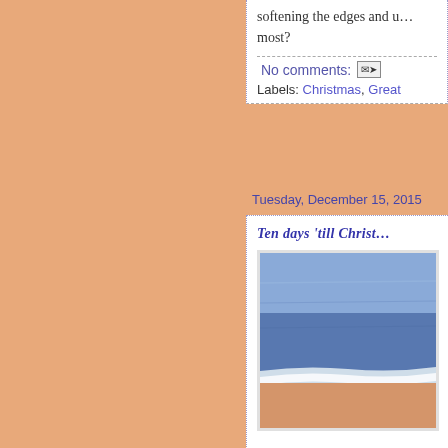softening the edges and u... most?
No comments:
Labels: Christmas, Great
Tuesday, December 15, 2015
Ten days 'till Christ...
[Figure (photo): Photo showing blue textured fabric or textile material with white edge, partially cropped]